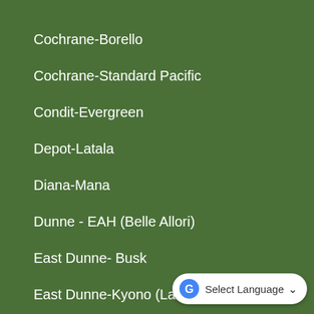Cochrane-Borello
Cochrane-Standard Pacific
Condit-Evergreen
Depot-Latala
Diana-Mana
Dunne - EAH (Belle Allori)
East Dunne- Busk
East Dunne-Kyono (Las Colina…